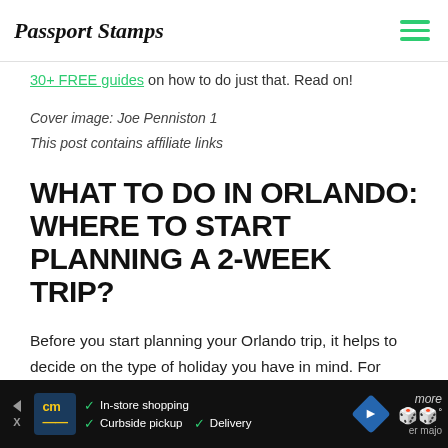Passport Stamps
30+ FREE guides on how to do just that. Read on!
Cover image: Joe Penniston 1
This post contains affiliate links
WHAT TO DO IN ORLANDO: WHERE TO START PLANNING A 2-WEEK TRIP?
Before you start planning your Orlando trip, it helps to decide on the type of holiday you have in mind. For some, heading directly to Walt Disney World and staying in the 'Disney bubble' is the dream holiday.
[Figure (other): Advertisement banner: CM logo, In-store shopping, Curbside pickup, Delivery with navigation icon]